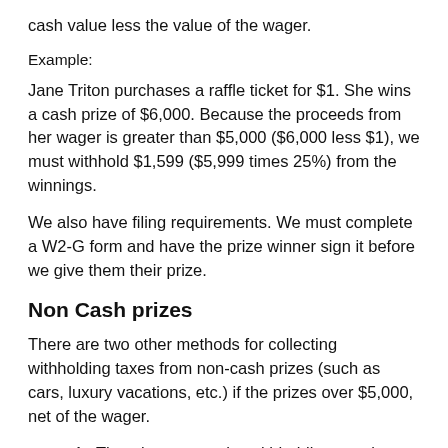cash value less the value of the wager.
Example:
Jane Triton purchases a raffle ticket for $1. She wins a cash prize of $6,000. Because the proceeds from her wager is greater than $5,000 ($6,000 less $1), we must withhold $1,599 ($5,999 times 25%) from the winnings.
We also have filing requirements. We must complete a W2-G form and have the prize winner sign it before we give them their prize.
Non Cash prizes
There are two other methods for collecting withholding taxes from non-cash prizes (such as cars, luxury vacations, etc.) if the prizes over $5,000, net of the wager.
1. The winner pays the withholding tax via cash, check or credit card. The amount withheld for taxes is 28% of the fair market value of the noncash item, less the value of the wager. We must receive the tax payment